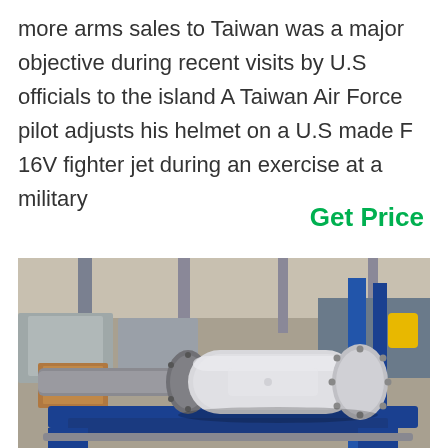more arms sales to Taiwan was a major objective during recent visits by U.S officials to the island A Taiwan Air Force pilot adjusts his helmet on a U.S made F 16V fighter jet during an exercise at a military
Get Price
[Figure (photo): A large industrial mechanical component (cylindrical hydraulic or pneumatic actuator/roller assembly) mounted on a blue metal frame in an industrial factory setting. The component is white/grey with flanged ends and a metal shaft protruding from the left side.]